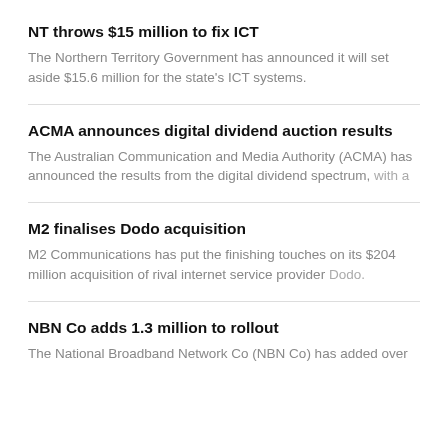NT throws $15 million to fix ICT
The Northern Territory Government has announced it will set aside $15.6 million for the state's ICT systems.
ACMA announces digital dividend auction results
The Australian Communication and Media Authority (ACMA) has announced the results from the digital dividend spectrum, with a
M2 finalises Dodo acquisition
M2 Communications has put the finishing touches on its $204 million acquisition of rival internet service provider Dodo.
NBN Co adds 1.3 million to rollout
The National Broadband Network Co (NBN Co) has added over